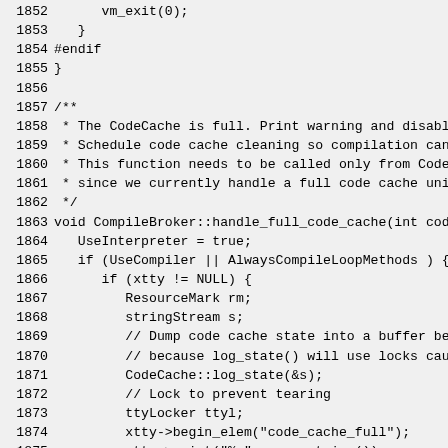Source code listing lines 1852-1881, C++ code for CompileBroker::handle_full_code_cache function